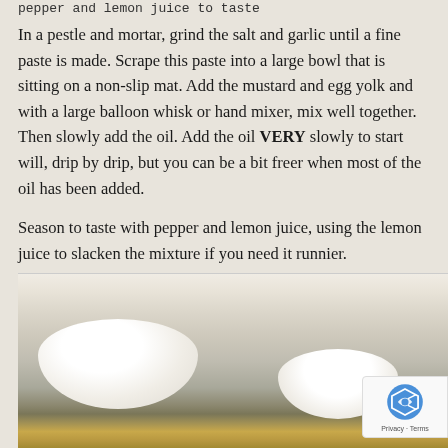pepper and lemon juice to taste
In a pestle and mortar, grind the salt and garlic until a fine paste is made. Scrape this paste into a large bowl that is sitting on a non-slip mat. Add the mustard and egg yolk and with a large balloon whisk or hand mixer, mix well together. Then slowly add the oil. Add the oil VERY slowly to start will, drip by drip, but you can be a bit freer when most of the oil has been added.
Season to taste with pepper and lemon juice, using the lemon juice to slacken the mixture if you need it runnier.
This will keep for a few days, covered in the fridge.
[Figure (photo): Close-up photograph of white ceramic bowls with a blurred background, showing what appears to be a mayonnaise or aioli preparation with yellow food items visible in the foreground.]